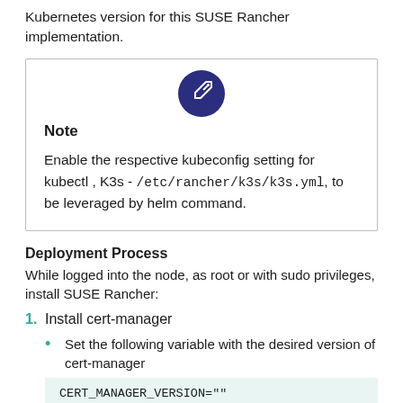Kubernetes version for this SUSE Rancher implementation.
[Figure (illustration): Dark navy circular icon with a pencil/edit symbol inside, centered above the Note box]
Note
Enable the respective kubeconfig setting for kubectl , K3s - /etc/rancher/k3s/k3s.yml, to be leveraged by helm command.
Deployment Process
While logged into the node, as root or with sudo privileges, install SUSE Rancher:
1. Install cert-manager
Set the following variable with the desired version of cert-manager
CERT_MANAGER_VERSION=""